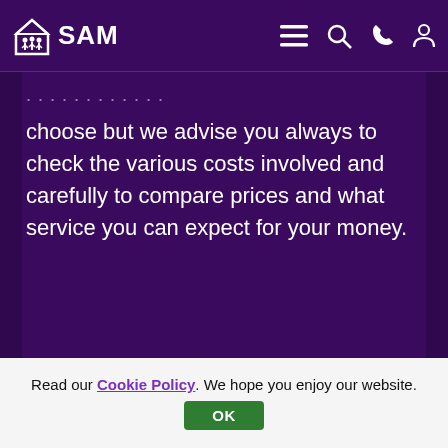SAM
choose but we advise you always to check the various costs involved and carefully to compare prices and what service you can expect for your money.
Read our Cookie Policy. We hope you enjoy our website.